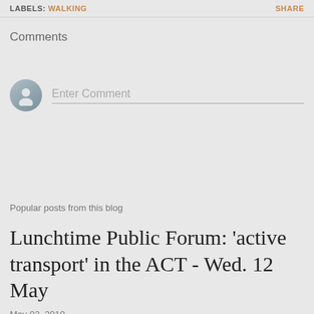LABELS: WALKING    SHARE
Comments
Enter Comment
Popular posts from this blog
Lunchtime Public Forum: 'active transport' in the ACT - Wed. 12 May
May 02, 2010